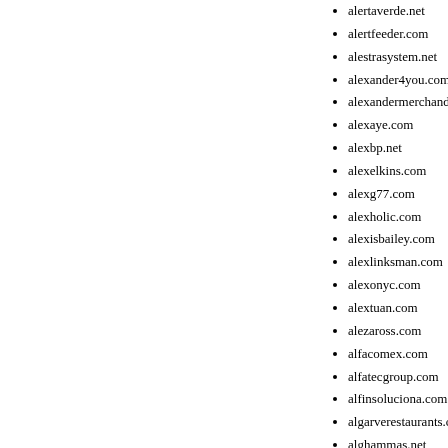alertaverde.net
alertfeeder.com
alestrasystem.net
alexander4you.com
alexandermerchandising.net
alexaye.com
alexbp.net
alexelkins.com
alexg77.com
alexholic.com
alexisbailey.com
alexlinksman.com
alexonyc.com
alextuan.com
alezaross.com
alfacomex.com
alfatecgroup.com
alfinsoluciona.com
algarverestaurants.com
alghammas.net
alhaus.net
aliandmike.com
aliciabobro.com
alihazuma.com
alisamiyen-arena.com
alisher02yahoo.com
alistangels.com
alivebrains.net